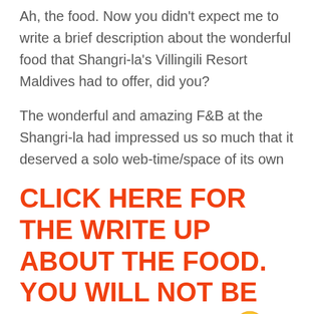Ah, the food. Now you didn't expect me to write a brief description about the wonderful food that Shangri-la's Villingili Resort Maldives had to offer, did you?
The wonderful and amazing F&B at the Shangri-la had impressed us so much that it deserved a solo web-time/space of its own
CLICK HERE FOR THE WRITE UP ABOUT THE FOOD. YOU WILL NOT BE DISAPPOINTED. 🙂